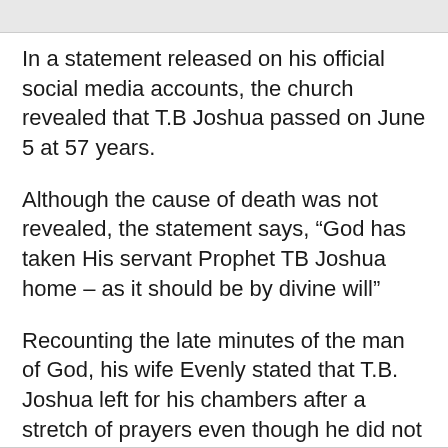In a statement released on his official social media accounts, the church revealed that T.B Joshua passed on June 5 at 57 years.
Although the cause of death was not revealed, the statement says, “God has taken His servant Prophet TB Joshua home – as it should be by divine will”
Recounting the late minutes of the man of God, his wife Evenly stated that T.B. Joshua left for his chambers after a stretch of prayers even though he did not show any signs of illness.